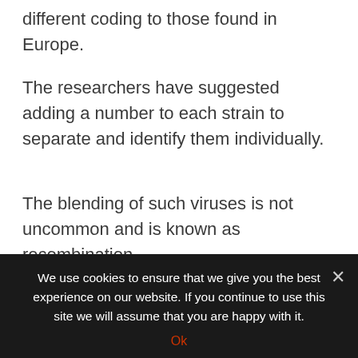different coding to those found in Europe.
The researchers have suggested adding a number to each strain to separate and identify them individually.
The blending of such viruses is not uncommon and is known as recombination.
This phenomenon appears to happen at random when viruses replicate.
We use cookies to ensure that we give you the best experience on our website. If you continue to use this site we will assume that you are happy with it.
Ok